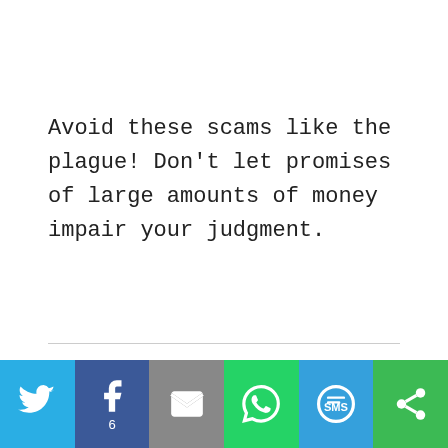Avoid these scams like the plague! Don't let promises of large amounts of money impair your judgment.
[Figure (infographic): Social sharing bar with Twitter, Facebook (6 shares), Email, WhatsApp, SMS, and More buttons]